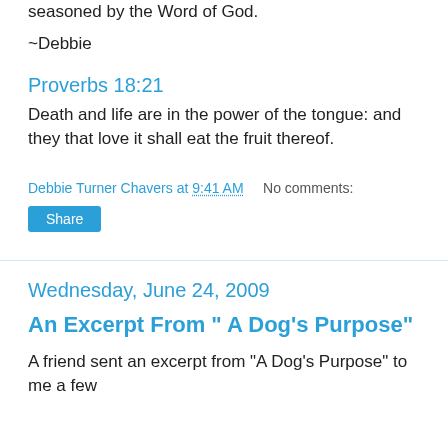through the garden of your life with a tongue that has been seasoned by the Word of God.
~Debbie
Proverbs 18:21
Death and life are in the power of the tongue: and they that love it shall eat the fruit thereof.
Debbie Turner Chavers at 9:41 AM   No comments:
Share
Wednesday, June 24, 2009
An Excerpt From " A Dog's Purpose"
A friend sent an excerpt from "A Dog's Purpose" to me a few